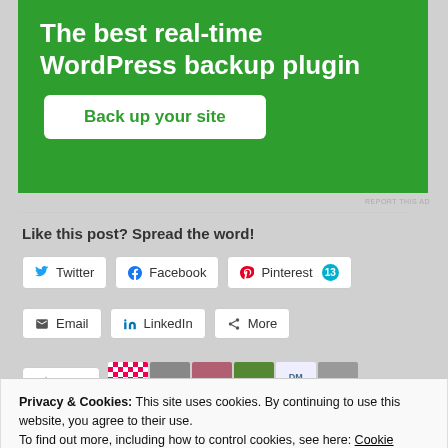[Figure (screenshot): Green advertisement banner for WordPress backup plugin with 'Back up your site' button]
REPORT THIS AD
Like this post? Spread the word!
Twitter | Facebook | Pinterest 13 | Email | LinkedIn | More
Like
Privacy & Cookies: This site uses cookies. By continuing to use this website, you agree to their use.
To find out more, including how to control cookies, see here: Cookie Policy
Close and accept